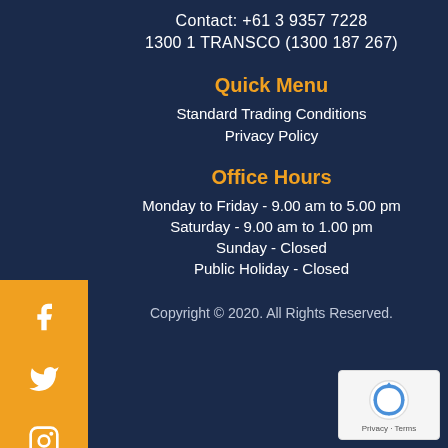Contact: +61 3 9357 7228
1300 1 TRANSCO (1300 187 267)
Quick Menu
Standard Trading Conditions
Privacy Policy
Office Hours
Monday to Friday - 9.00 am to 5.00 pm
Saturday - 9.00 am to 1.00 pm
Sunday - Closed
Public Holiday - Closed
Copyright © 2020. All Rights Reserved.
[Figure (logo): reCAPTCHA badge with Privacy and Terms links]